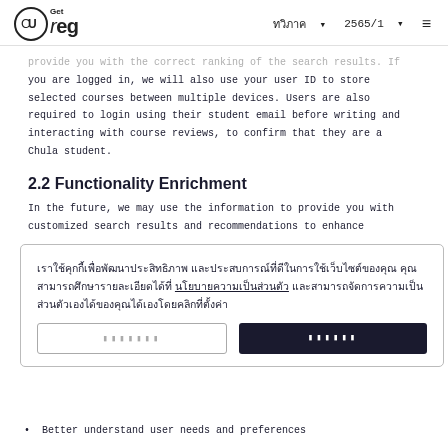CUreg  ทวิภาค  2565/1
provide you with the correct ranking of the search results. If you are logged in, we will also use your user ID to store selected courses between multiple devices. Users are also required to login using their student email before writing and interacting with course reviews, to confirm that they are a Chula student.
2.2 Functionality Enrichment
In the future, we may use the information to provide you with customized search results and recommendations to enhance
เราใช้คุกกี้เพื่อพัฒนาประสิทธิภาพ และประสบการณ์ที่ดีในการใช้เว็บไซต์ของคุณ คุณสามารถศึกษารายละเอียดได้ที่ นโยบายความเป็นส่วนตัว และสามารถจัดการความเป็นส่วนตัวเองได้ของคุณได้เองโดยคลิกที่ตั้งค่า
Better understand user needs and preferences